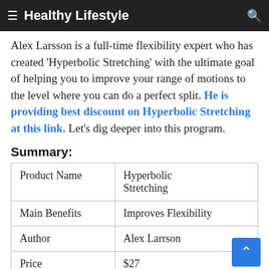≡  Healthy Lifestyle   🔍
groups suggest stretching to increase the range of motion.
Alex Larsson is a full-time flexibility expert who has created 'Hyperbolic Stretching' with the ultimate goal of helping you to improve your range of motions to the level where you can do a perfect split. He is providing best discount on Hyperbolic Stretching at this link. Let's dig deeper into this program.
Summary:
| Product Name | Hyperbolic Stretching |
| --- | --- |
| Main Benefits | Improves Flexibility |
| Author | Alex Larrson |
| Price | $27 |